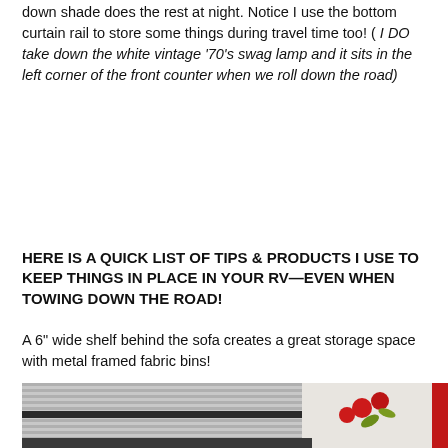down shade does the rest at night. Notice I use the bottom curtain rail to store some things during travel time too! ( I DO take down the white vintage '70's swag lamp and it sits in the left corner of the front counter when we roll down the road)
HERE IS A QUICK LIST OF TIPS & PRODUCTS I USE TO KEEP THINGS IN PLACE IN YOUR RV—EVEN WHEN TOWING DOWN THE ROAD!
A 6" wide shelf behind the sofa creates a great storage space with metal framed fabric bins!
[Figure (photo): Photo of what appears to be a shelf area in an RV interior, showing striped fabric or blinds and red floral decoration on the right side.]